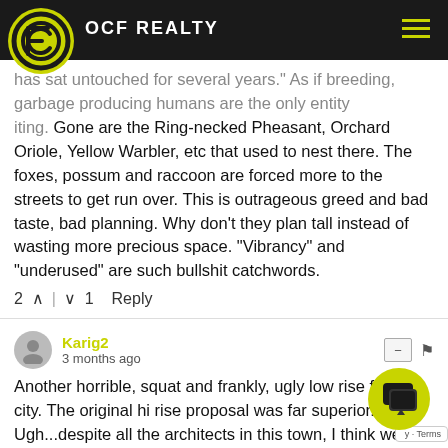OCF REALTY
has sat untouched for several years." As if breeding, garbage producing humans are the only entity iting. Gone are the Ring-necked Pheasant, Orchard Oriole, Yellow Warbler, etc that used to nest there. The foxes, possum and raccoon are forced more to the streets to get run over. This is outrageous greed and bad taste, bad planning. Why don't they plan tall instead of wasting more precious space. "Vibrancy" and "underused" are such bullshit catchwords.
2 ^ | v 1  Reply
Karig2
3 months ago
Another horrible, squat and frankly, ugly low rise for this city. The original hi rise proposal was far superior. Ugh...despite all the architects in this town, I think we are doomed to be dominated by crappy and badly designed new buildings. It seems that there's no vision or aspiration for anything quality with many of these new structures.